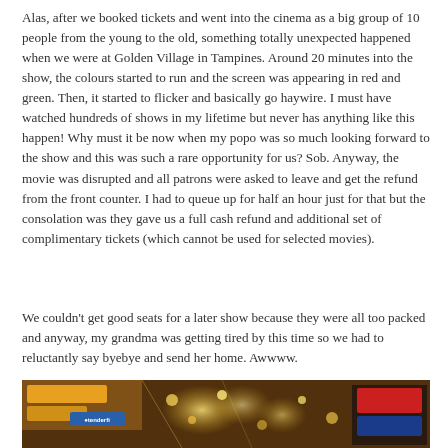Alas, after we booked tickets and went into the cinema as a big group of 10 people from the young to the old, something totally unexpected happened when we were at Golden Village in Tampines. Around 20 minutes into the show, the colours started to run and the screen was appearing in red and green. Then, it started to flicker and basically go haywire. I must have watched hundreds of shows in my lifetime but never has anything like this happen! Why must it be now when my popo was so much looking forward to the show and this was such a rare opportunity for us? Sob. Anyway, the movie was disrupted and all patrons were asked to leave and get the refund from the front counter. I had to queue up for half an hour just for that but the consolation was they gave us a full cash refund and additional set of complimentary tickets (which cannot be used for selected movies).
We couldn't get good seats for a later show because they were all too packed and anyway, my grandma was getting tired by this time so we had to reluctantly say byebye and send her home. Awwww.
[Figure (photo): Photo of Golden Village cinema exterior at night showing illuminated signs and lights]